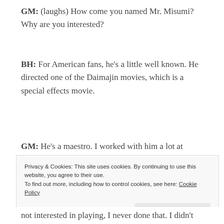GM: (laughs) How come you named Mr. Misumi? Why are you interested?
BH: For American fans, he's a little well known. He directed one of the Daimajin movies, which is a special effects movie.
GM: He's a maestro. I worked with him a lot at Daiei. He was such a nice person, but his face was like a devil! Everybody believed that he was scary. If you were a bad
Privacy & Cookies: This site uses cookies. By continuing to use this website, you agree to their use.
To find out more, including how to control cookies, see here: Cookie Policy
Close and accept
not interested in playing, I never done that. I didn't